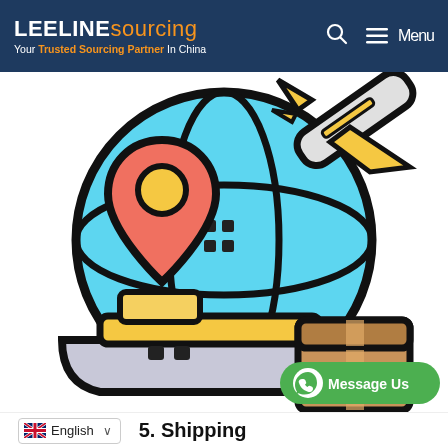LEELINE sourcing — Your Trusted Sourcing Partner In China | Menu
[Figure (illustration): Colorful illustration showing a globe with map pin (location marker), an airplane, a cargo ship, and a cardboard box — representing global shipping/sourcing. A green WhatsApp 'Message Us' button overlays the lower right.]
English  ∨   5. Shipping